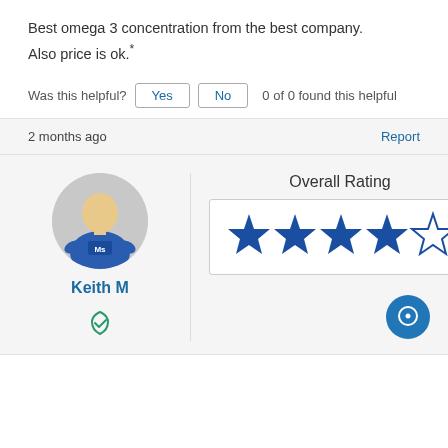Best omega 3 concentration from the best company.
Also price is ok.*
Was this helpful?  Yes  No  0 of 0 found this helpful
2 months ago
Report
[Figure (illustration): User avatar circle with generic person silhouette wearing a blue jersey with 'Ms' text]
Keith M
[Figure (illustration): Green shield with checkmark verified icon]
Overall Rating
[Figure (other): 4 out of 5 stars rating: four filled dark blue stars and one empty/outline star]
[Figure (illustration): Blue circle chat/message button icon at bottom right]